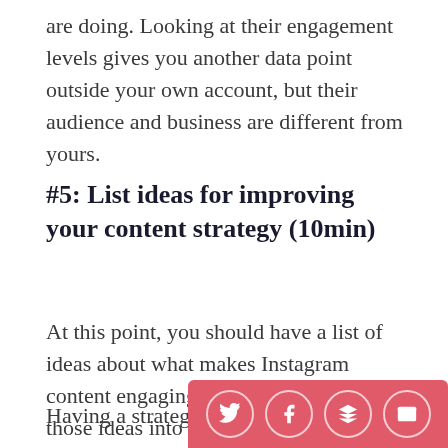are doing. Looking at their engagement levels gives you another data point outside your own account, but their audience and business are different from yours.
#5: List ideas for improving your content strategy (10min)
At this point, you should have a list of ideas about what makes Instagram content engaging—now it's time to turn those ideas into a concrete plan.
Having a strategy is vital w
[Figure (infographic): Social share bar with Twitter, Facebook, Buffer/Layers, and Email icons on a red/pink background]